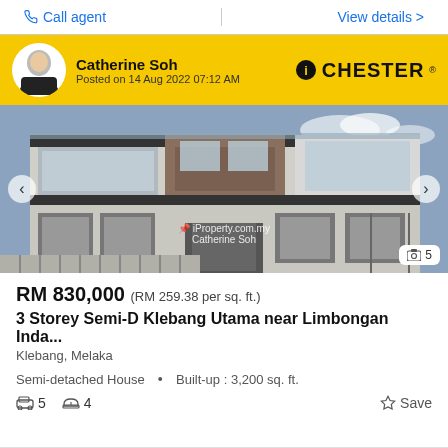Call agent | View details >
Catherine Soh
Posted on 14 Aug 2022 07:12 AM
[Figure (photo): Exterior photo of a 3-storey semi-detached house with glass railings, brick accents, and modern facade. Watermark: iProperty.com.my / Catherine Soh. Photo count badge: 5.]
RM 830,000 (RM 259.38 per sq. ft.)
3 Storey Semi-D Klebang Utama near Limbongan Inda...
Klebang, Melaka
Semi-detached House • Built-up : 3,200 sq. ft.
🚗 5  🚿 4  ☆ Save